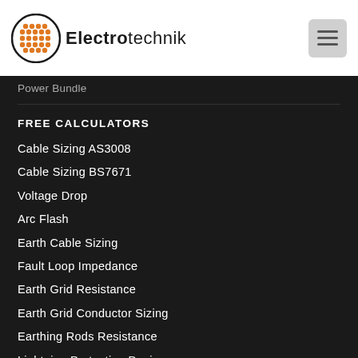[Figure (logo): Electrotechnik logo with circular orange dot pattern icon and text 'Electrotechnik']
Power Bundle
FREE CALCULATORS
Cable Sizing AS3008
Cable Sizing BS7671
Voltage Drop
Arc Flash
Earth Cable Sizing
Fault Loop Impedance
Earth Grid Resistance
Earth Grid Conductor Sizing
Earthing Rods Resistance
Lightning Protection Design